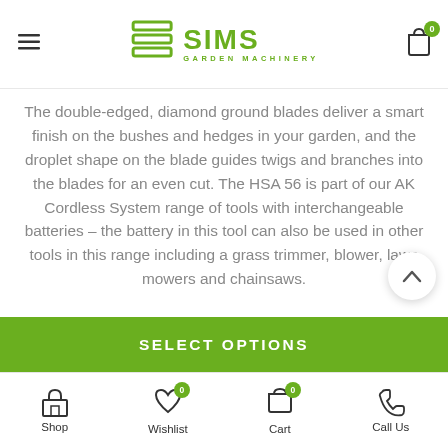SIMS GARDEN MACHINERY
The double-edged, diamond ground blades deliver a smart finish on the bushes and hedges in your garden, and the droplet shape on the blade guides twigs and branches into the blades for an even cut. The HSA 56 is part of our AK Cordless System range of tools with interchangeable batteries – the battery in this tool can also be used in other tools in this range including a grass trimmer, blower, lawn mowers and chainsaws.
SELECT OPTIONS
Shop | Wishlist 0 | Cart 0 | Call Us